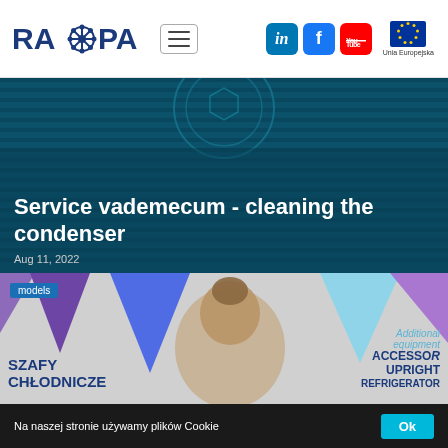[Figure (logo): RAPA company logo with snowflake/gear icon, hamburger menu button, LinkedIn, Facebook, YouTube social icons, and EU flag with Unia Europejska text]
[Figure (photo): Dark teal industrial condenser/cooling unit background image with circular fan grill pattern]
Service vademecum - cleaning the condenser
Aug 11, 2022
[Figure (photo): Second card showing a woman's face with blurred triangular decorations in blue/purple, left side reads SZAFY CHŁODNICZE, right side reads Additional equipment, ACCESSORIES, UPRIGHT REFRIGERATOR text, with models tag]
Na naszej stronie używamy plików Cookie
Ok